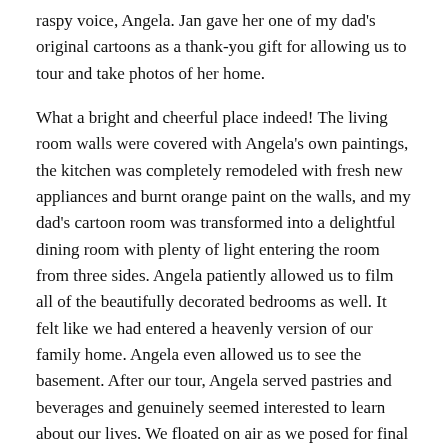raspy voice, Angela. Jan gave her one of my dad's original cartoons as a thank-you gift for allowing us to tour and take photos of her home.
What a bright and cheerful place indeed! The living room walls were covered with Angela's own paintings, the kitchen was completely remodeled with fresh new appliances and burnt orange paint on the walls, and my dad's cartoon room was transformed into a delightful dining room with plenty of light entering the room from three sides. Angela patiently allowed us to film all of the beautifully decorated bedrooms as well. It felt like we had entered a heavenly version of our family home. Angela even allowed us to see the basement. After our tour, Angela served pastries and beverages and genuinely seemed interested to learn about our lives. We floated on air as we posed for final photos and thanked Angela for her hospitality.